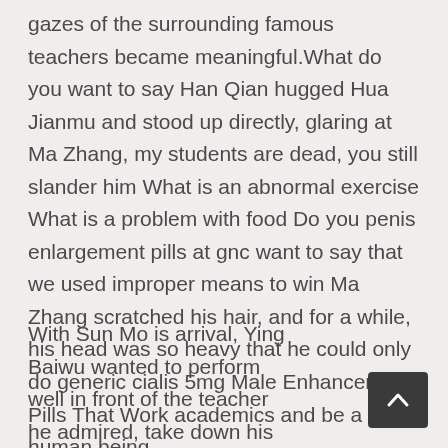gazes of the surrounding famous teachers became meaningful.What do you want to say Han Qian hugged Hua Jianmu and stood up directly, glaring at Ma Zhang, my students are dead, you still slander him What is an abnormal exercise What is a problem with food Do you penis enlargement pills at gnc want to say that we used improper means to win Ma Zhang scratched his hair, and for a while, his head was so heavy that he could only do generic cialis 5mg Male Enhancement Pills That Work academics and be a human being.
With Sun Mo is arrival, Ying Baiwu wanted to perform well in front of the teacher he admired, take down his opponent as soon as penis enlargement pills at gnc possible,